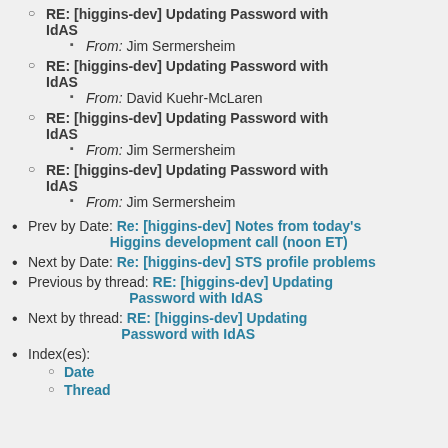RE: [higgins-dev] Updating Password with IdAS
  From: Jim Sermersheim
RE: [higgins-dev] Updating Password with IdAS
  From: David Kuehr-McLaren
RE: [higgins-dev] Updating Password with IdAS
  From: Jim Sermersheim
RE: [higgins-dev] Updating Password with IdAS
  From: Jim Sermersheim
Prev by Date: Re: [higgins-dev] Notes from today's Higgins development call (noon ET)
Next by Date: Re: [higgins-dev] STS profile problems
Previous by thread: RE: [higgins-dev] Updating Password with IdAS
Next by thread: RE: [higgins-dev] Updating Password with IdAS
Index(es): Date, Thread